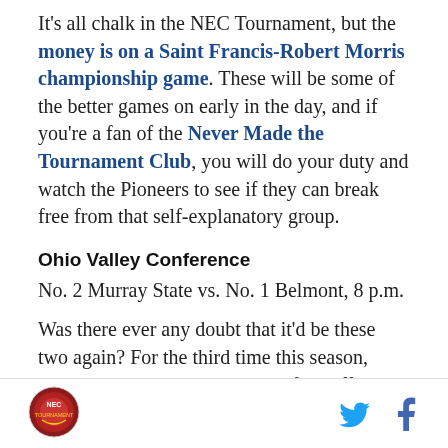It's all chalk in the NEC Tournament, but the money is on a Saint Francis-Robert Morris championship game. These will be some of the better games on early in the day, and if you're a fan of the Never Made the Tournament Club, you will do your duty and watch the Pioneers to see if they can break free from that self-explanatory group.
Ohio Valley Conference
No. 2 Murray State vs. No. 1 Belmont, 8 p.m.
Was there ever any doubt that it'd be these two again? For the third time this season, Belmont and Murray State will face off. However, unlike last year's OVC Championship, there will be no bid available for the
[Figure (logo): Circular sports logo in red/orange tones]
[Figure (logo): Twitter bird icon in blue]
[Figure (logo): Facebook f icon in blue]